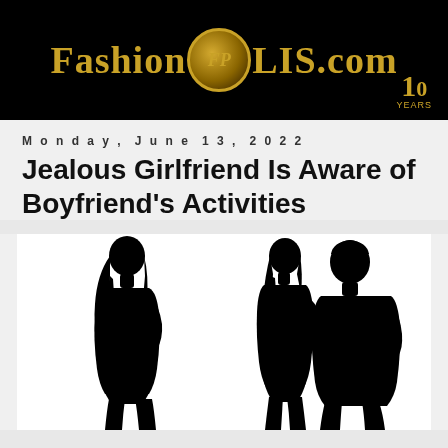FashionPULIS.com
Monday, June 13, 2022
Jealous Girlfriend Is Aware of Boyfriend's Activities
[Figure (illustration): Black silhouettes on white background: one lone female figure on the left standing alone, and on the right a couple (female and male) facing each other closely, appearing to be in an intimate conversation or about to kiss.]